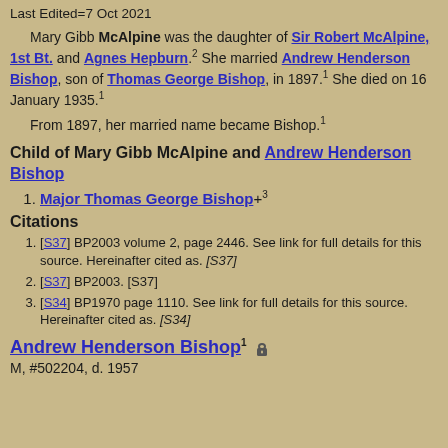Last Edited=7 Oct 2021
Mary Gibb McAlpine was the daughter of Sir Robert McAlpine, 1st Bt. and Agnes Hepburn.2 She married Andrew Henderson Bishop, son of Thomas George Bishop, in 1897.1 She died on 16 January 1935.1
From 1897, her married name became Bishop.1
Child of Mary Gibb McAlpine and Andrew Henderson Bishop
Major Thomas George Bishop+3
Citations
[S37] BP2003 volume 2, page 2446. See link for full details for this source. Hereinafter cited as. [S37]
[S37] BP2003. [S37]
[S34] BP1970 page 1110. See link for full details for this source. Hereinafter cited as. [S34]
Andrew Henderson Bishop1
M, #502204, d. 1957